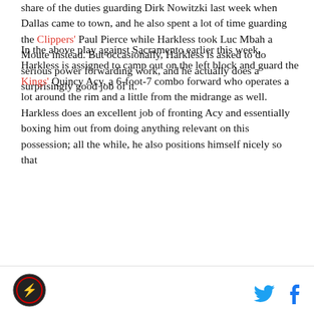share of the duties guarding Dirk Nowitzki last week when Dallas came to town, and he also spent a lot of time guarding the Clippers' Paul Pierce while Harkless took Luc Mbah a Moute instead. But occasionally, Harkless is asked to do serious power forwarding work, and he actually does a surprisingly good job of it.
In the above play against Sacramento earlier this week, Harkless is assigned to camp out on the left block and guard the Kings' Quincy Acy, a 6-foot-7 combo forward who operates a lot around the rim and a little from the midrange as well. Harkless does an excellent job of fronting Acy and essentially boxing him out from doing anything relevant on this possession; all the while, he also positions himself nicely so that
[logo] [twitter] [facebook]